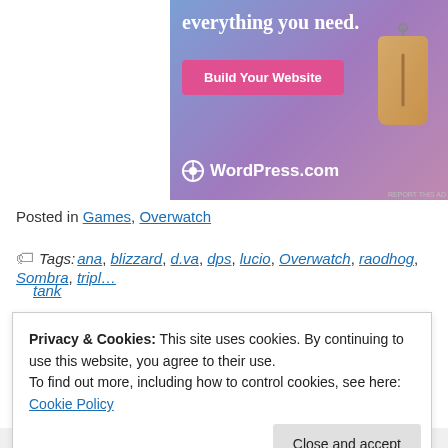[Figure (other): WordPress.com advertisement banner with gradient blue-purple background, 'everything you need.' text, pink 'Build Your Website' button, price tag image, and WordPress.com logo]
Posted in Games, Overwatch
Tags: ana, blizzard, d.va, dps, lucio, Overwatch, raodhog, Sombra, triple tank
Privacy & Cookies: This site uses cookies. By continuing to use this website, you agree to their use.
To find out more, including how to control cookies, see here: Cookie Policy
Close and accept